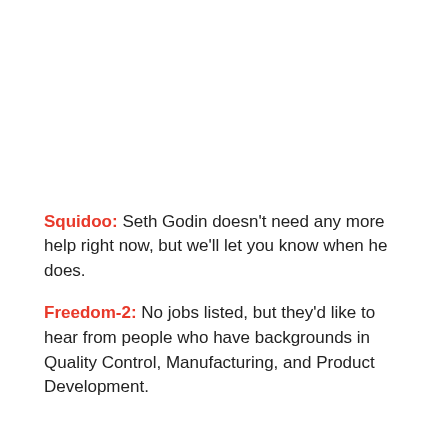Squidoo: Seth Godin doesn't need any more help right now, but we'll let you know when he does.
Freedom-2: No jobs listed, but they'd like to hear from people who have backgrounds in Quality Control, Manufacturing, and Product Development.